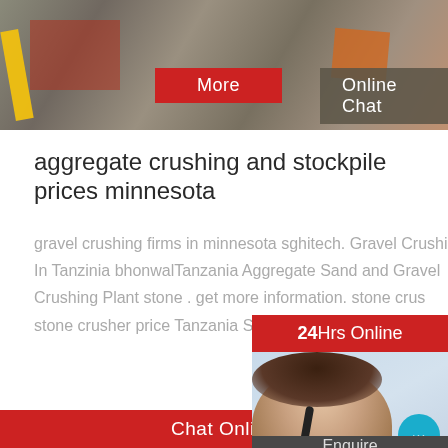[Figure (photo): Top banner image showing construction/industrial equipment with overlaid buttons: 'More' (red) and 'Online Chat' (dark gray)]
aggregate crushing and stockpile prices minnesota
gravel crushing firms in minnesota sghitech. Gravel Crushing In Tanzinia bhonwalTanzania Aggregate Sand and Gravel Crushing Plant stone . get more information. stone crusher stone crusher price Tanzania SKD is a leading
[Figure (other): Sidebar widget with '24Hrs Online' red banner, photo of customer service representative with headset, chat bubble icon, 'Need questions & suggestion?' text, and 'Chat Now' button]
[Figure (photo): Photo of construction site with crane and building machinery against sky background]
Chat Online
Enquire